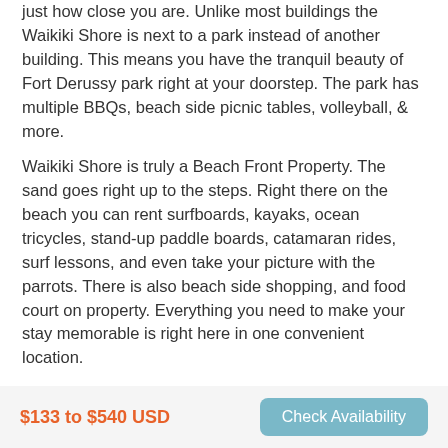just how close you are. Unlike most buildings the Waikiki Shore is next to a park instead of another building. This means you have the tranquil beauty of Fort Derussy park right at your doorstep. The park has multiple BBQs, beach side picnic tables, volleyball, & more.
Waikiki Shore is truly a Beach Front Property. The sand goes right up to the steps. Right there on the beach you can rent surfboards, kayaks, ocean tricycles, stand-up paddle boards, catamaran rides, surf lessons, and even take your picture with the parrots. There is also beach side shopping, and food court on property. Everything you need to make your stay memorable is right here in one convenient location.
The Waikiki Shore is a very short walk to:
$133 to $540 USD
Check Availability